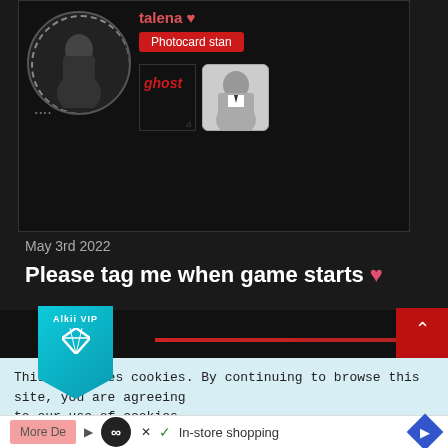[Figure (screenshot): Social media profile card with avatar in decorative circle frame, 'Photocard stan' red badge, ghost album thumbnail and person photo thumbnail]
May 3rd 2022
Please tag me when game starts ♥
[Figure (logo): Alkii VIP cyan badge with diamond icon and navigation up/down red buttons]
This site uses cookies. By continuing to browse this site, you are agreeing to our use of cookies.
More Details  ▷  ∞  ✓ In-store shopping  ◆  ✕